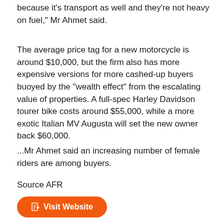because it's transport as well and they're not heavy on fuel," Mr Ahmet said.
The average price tag for a new motorcycle is around $10,000, but the firm also has more expensive versions for more cashed-up buyers buoyed by the "wealth effect" from the escalating value of properties. A full-spec Harley Davidson tourer bike costs around $55,000, while a more exotic Italian MV Augusta will set the new owner back $60,000.
...Mr Ahmet said an increasing number of female riders are among buyers.
Source AFR
[Figure (other): Orange rounded button labeled 'Visit Website' with a document icon]